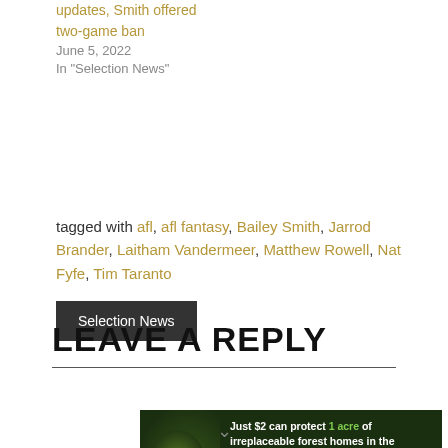updates, Smith offered two-game ban
June 5, 2022
In "Selection News"
tagged with afl, afl fantasy, Bailey Smith, Jarrod Brander, Laitham Vandermeer, Matthew Rowell, Nat Fyfe, Tim Taranto
Selection News
LEAVE A REPLY
[Figure (photo): Advertisement banner for Amazon forest protection: 'Just $2 can protect 1 acre of irreplaceable forest homes in the Amazon. How many acres are you willing to protect?' with a PROTECT FORESTS NOW button and an image of forest/orangutan.]